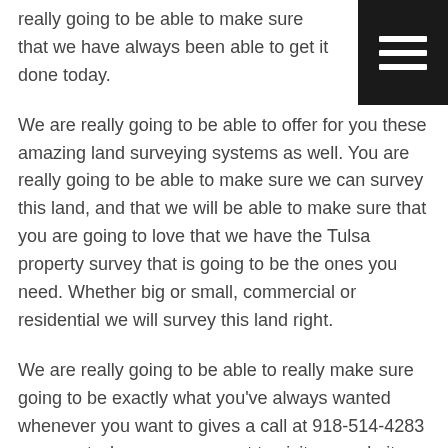really going to be able to make sure that we have always been able to get it done today.
[Figure (other): Black hamburger menu icon (three white horizontal bars on black background) in top right corner]
We are really going to be able to offer for you these amazing land surveying systems as well. You are really going to be able to make sure we can survey this land, and that we will be able to make sure that you are going to love that we have the Tulsa property survey that is going to be the ones you need. Whether big or small, commercial or residential we will survey this land right.
We are really going to be able to really make sure going to be exactly what you've always wanted whenever you want to gives a call at 918-514-4283 come out whenever you want to visit our website on aabeng.com today.
Tulsa Property Survey
We are really going to have the Tulsa property survey, and that you are really going to be exactly